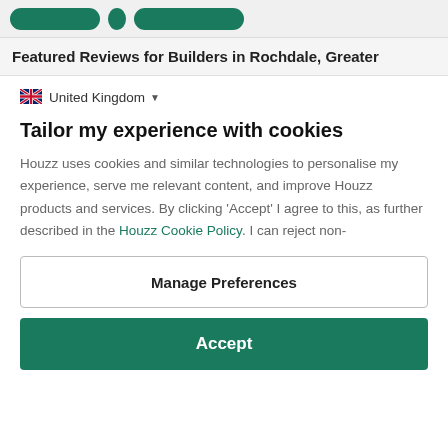[Figure (screenshot): Top bar with green rounded buttons on a light grey background]
Featured Reviews for Builders in Rochdale, Greater
🇬🇧 United Kingdom ▾
Tailor my experience with cookies
Houzz uses cookies and similar technologies to personalise my experience, serve me relevant content, and improve Houzz products and services. By clicking 'Accept' I agree to this, as further described in the Houzz Cookie Policy. I can reject non-
Manage Preferences
Accept